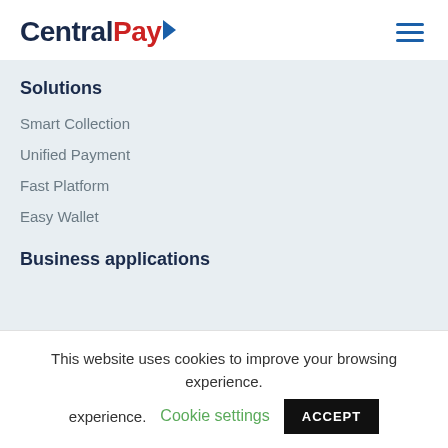CentralPay
Solutions
Smart Collection
Unified Payment
Fast Platform
Easy Wallet
Business applications
This website uses cookies to improve your browsing experience. Cookie settings ACCEPT